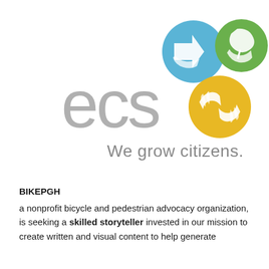[Figure (logo): ECS logo with three colored circles (blue with hand/arrow, green with leaf/hand, yellow/gold with hands) arranged in a cluster to the right of large grey 'ecs' text, with tagline 'We grow citizens.' below]
BIKEPGH
a nonprofit bicycle and pedestrian advocacy organization, is seeking a skilled storyteller invested in our mission to create written and visual content to help generate